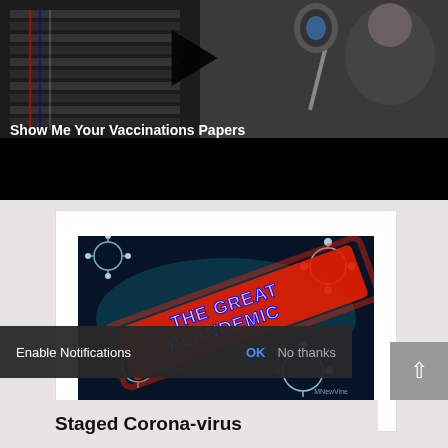[Figure (screenshot): Video thumbnail showing a man speaking into a microphone in a studio with server equipment. Text overlay reads 'Show Me Your Vaccinations Papers'. A black bar fills the bottom portion of the video frame.]
[Figure (screenshot): Card/embed showing an image titled 'THE GREAT PLANDEMIC' with stylized red glowing text on a dark background with illustrated coronavirus particles.]
Enable Notifications   OK   No thanks
Staged Corona-virus